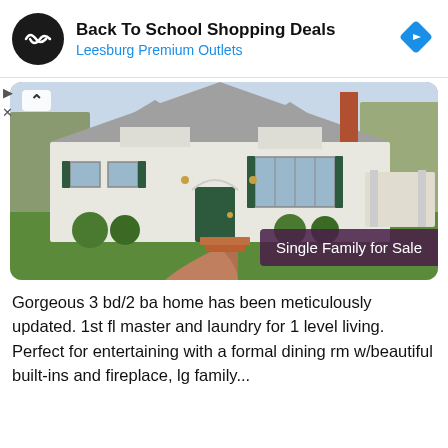[Figure (infographic): Ad banner: Back To School Shopping Deals at Leesburg Premium Outlets with logo and navigation arrow icon]
[Figure (photo): Exterior photo of a single-family Cape Cod style home with gray siding, green shutters, brick walkway, and landscaped lawn. Badge overlay reads 'Single Family for Sale'.]
Gorgeous 3 bd/2 ba home has been meticulously updated. 1st fl master and laundry for 1 level living. Perfect for entertaining with a formal dining rm w/beautiful built-ins and fireplace, lg family...